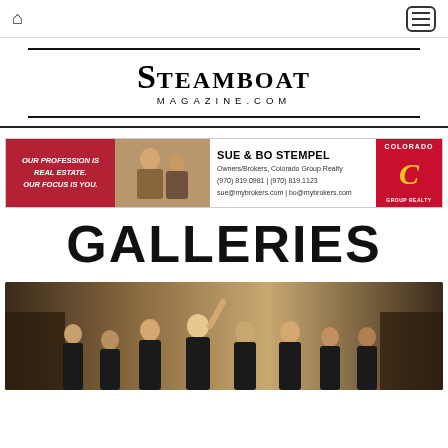Home | Menu navigation bar
[Figure (logo): Steamboat Magazine.com logo with serif bold text, large decorative S]
[Figure (infographic): Advertisement banner for Sue & Bo Stempel, Colorado Group Realty. Text: OUR PROFESSION IS REAL ESTATE. OUR FOCUS IS YOU. SUE & BO STEMPEL Owners/Brokers, Colorado Group Realty (970) 819.0981 | (970) 819.1123 sue@mybrokers.com | bo@mybrokers.com]
GALLERIES
[Figure (photo): Group photo of women posing in dark clothing against a dark background, studio setting]